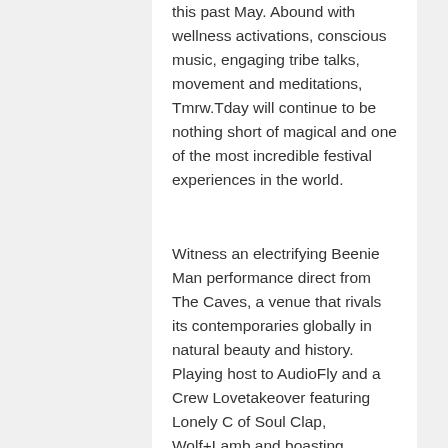this past May. Abound with wellness activations, conscious music, engaging tribe talks, movement and meditations, Tmrw.Tday will continue to be nothing short of magical and one of the most incredible festival experiences in the world.
Witness an electrifying Beenie Man performance direct from The Caves, a venue that rivals its contemporaries globally in natural beauty and history. Playing host to AudioFly and a Crew Lovetakeover featuring Lonely C of Soul Clap, Wolf+Lamb and boasting